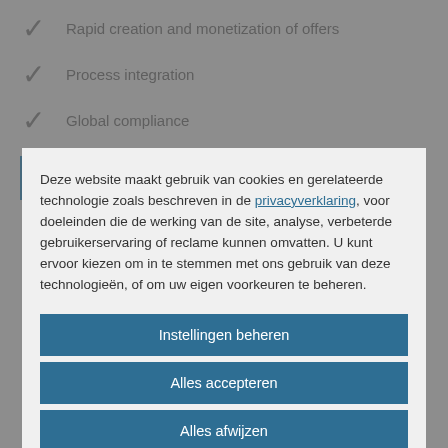Rapid creation and monetization of offers
Process integration
Global compliance
Explore RISE with SAP
Deze website maakt gebruik van cookies en gerelateerde technologie zoals beschreven in de privacyverklaring, voor doeleinden die de werking van de site, analyse, verbeterde gebruikerservaring of reclame kunnen omvatten. U kunt ervoor kiezen om in te stemmen met ons gebruik van deze technologieën, of om uw eigen voorkeuren te beheren.
Instellingen beheren
Alles accepteren
Alles afwijzen
Cookieverklaring